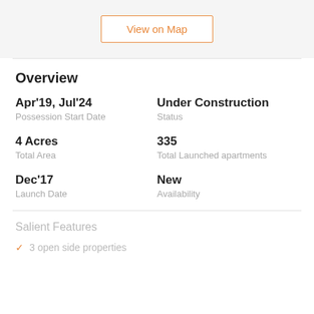View on Map
Overview
Apr'19, Jul'24
Possession Start Date
Under Construction
Status
4 Acres
Total Area
335
Total Launched apartments
Dec'17
Launch Date
New
Availability
Salient Features
3 open side properties